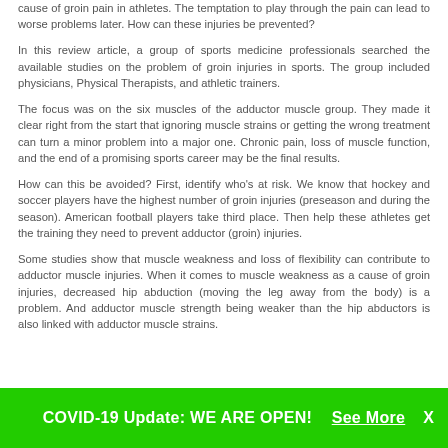cause of groin pain in athletes. The temptation to play through the pain can lead to worse problems later. How can these injuries be prevented?
In this review article, a group of sports medicine professionals searched the available studies on the problem of groin injuries in sports. The group included physicians, Physical Therapists, and athletic trainers.
The focus was on the six muscles of the adductor muscle group. They made it clear right from the start that ignoring muscle strains or getting the wrong treatment can turn a minor problem into a major one. Chronic pain, loss of muscle function, and the end of a promising sports career may be the final results.
How can this be avoided? First, identify who's at risk. We know that hockey and soccer players have the highest number of groin injuries (preseason and during the season). American football players take third place. Then help these athletes get the training they need to prevent adductor (groin) injuries.
Some studies show that muscle weakness and loss of flexibility can contribute to adductor muscle injuries. When it comes to muscle weakness as a cause of groin injuries, decreased hip abduction (moving the leg away from the body) is a problem. And adductor muscle strength being weaker than the hip abductors is also linked with adductor muscle strains.
COVID-19 Update: WE ARE OPEN!  See More